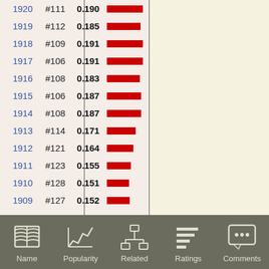| Year | Rank | Value | Bar |
| --- | --- | --- | --- |
| 1920 | #111 | 0.190 |  |
| 1919 | #112 | 0.185 |  |
| 1918 | #109 | 0.191 |  |
| 1917 | #106 | 0.191 |  |
| 1916 | #108 | 0.183 |  |
| 1915 | #106 | 0.187 |  |
| 1914 | #108 | 0.187 |  |
| 1913 | #114 | 0.171 |  |
| 1912 | #121 | 0.164 |  |
| 1911 | #123 | 0.155 |  |
| 1910 | #128 | 0.151 |  |
| 1909 | #127 | 0.152 |  |
[Figure (infographic): Navigation footer bar with 5 icons: Name (open book), Popularity (line chart), Related (org chart), Ratings (list/bars), Comments (speech bubble with ellipsis)]